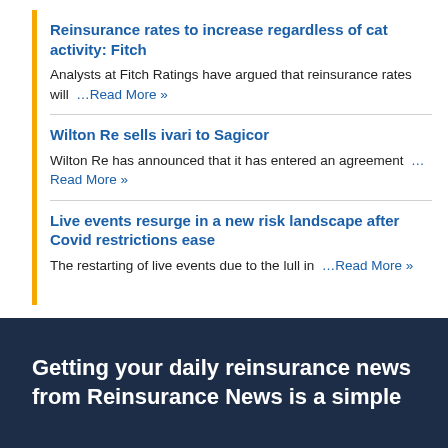Reinsurance rates to increase regardless of cat activity: Fitch
Analysts at Fitch Ratings have argued that reinsurance rates will …Read More »
Wilton Re sells ivari to Sagicor
Wilton Re has announced that it has entered an agreement …Read More »
Live events resurge in a new risk landscape after Covid restrictions ease
The restarting of live events due to the lull in …Read More »
Getting your daily reinsurance news from Reinsurance News is a simple